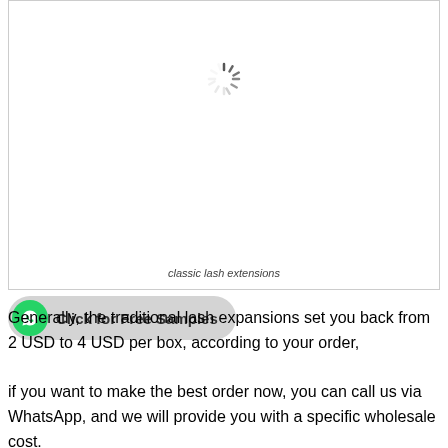[Figure (photo): Loading spinner (circular spinner icon) centered in a white bordered box, with italic caption 'classic lash extensions' at the bottom of the box.]
classic lash extensions
[Figure (other): WhatsApp click button: green WhatsApp icon circle and text 'Click for Free Samples' on a grey pill-shaped background.]
Generally, the traditional lash expansions set you back from 2 USD to 4 USD per box, according to your order,

if you want to make the best order now, you can call us via WhatsApp, and we will provide you with a specific wholesale cost.